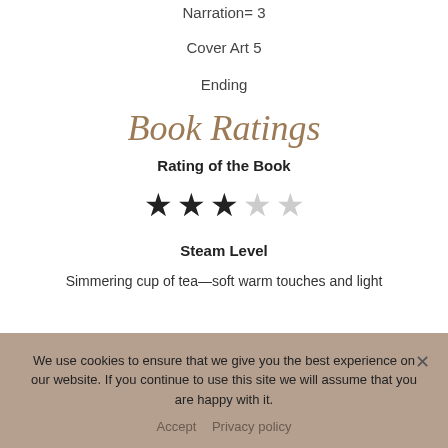Narration= 3
Cover Art 5
Ending
Book Ratings
Rating of the Book
[Figure (other): 3 filled stars and 2 empty stars rating]
Steam Level
Simmering cup of tea—soft warm touches and light
We use cookies to ensure that we give you the best experience on our website. If you continue to use this site we will assume that you are happy with it.
Accept  Privacy policy